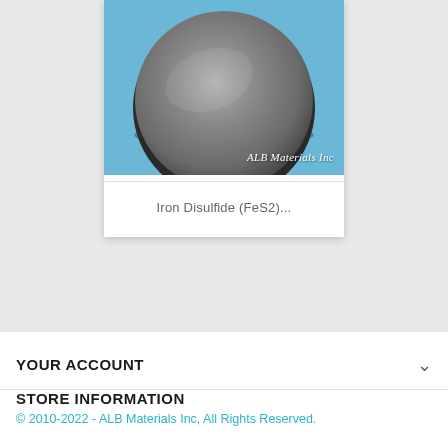[Figure (photo): Product photo of an Iron Disulfide (FeS2) disc/puck on a blue background, with 'ALB Materials Inc' watermark text in the bottom right corner.]
Iron Disulfide (FeS2)...
YOUR ACCOUNT
STORE INFORMATION
© 2010-2022 - ALB Materials Inc, All Rights Reserved.